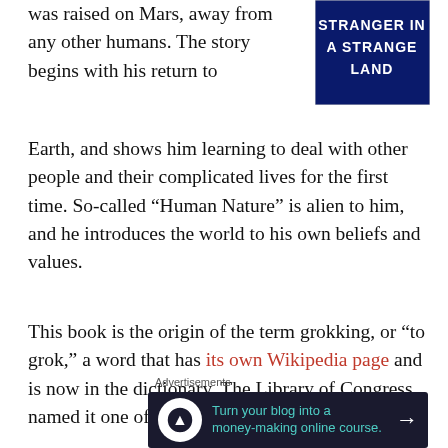was raised on Mars, away from any other humans. The story begins with his return to Earth, and shows him learning to deal with other people and their complicated lives for the first time. So-called “Human Nature” is alien to him, and he introduces the world to his own beliefs and values.
[Figure (illustration): Book cover of 'Stranger in a Strange Land' — dark blue background with large bold white text reading STRANGER IN A STRANGE LAND]
This book is the origin of the term grokking, or “to grok,” a word that has its own Wikipedia page and is now in the dictionary. The Library of Congress named it one of 88 “Books that Shaped America.”
Advertisements
[Figure (infographic): Advertisement banner with dark background, circular icon with person at desk, green text reading 'Turn your blog into a money-making online course.' with white arrow on right]